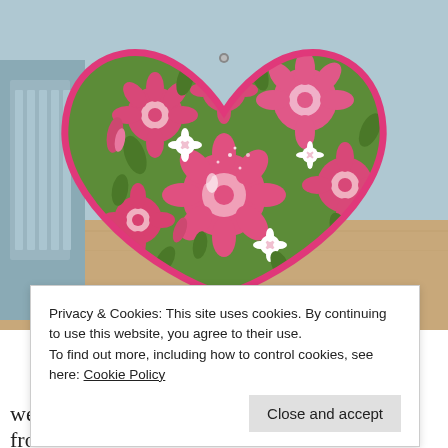[Figure (photo): A heart-shaped pillow with green background fabric featuring pink and white floral pattern with pink piping along the edge, resting on a wooden surface with a light blue/grey background]
Privacy & Cookies: This site uses cookies. By continuing to use this website, you agree to their use.
To find out more, including how to control cookies, see here: Cookie Policy
Close and accept
weight fabric from JoAnn that I had left over from